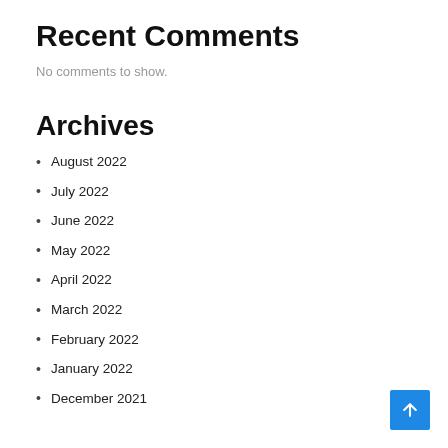Recent Comments
No comments to show.
Archives
August 2022
July 2022
June 2022
May 2022
April 2022
March 2022
February 2022
January 2022
December 2021